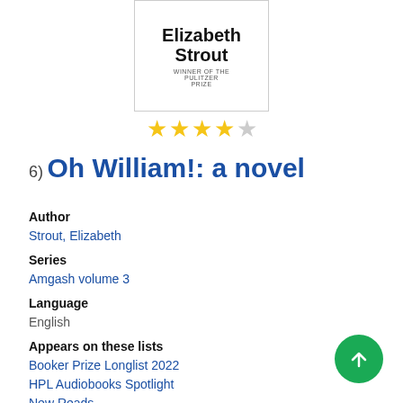[Figure (photo): Book cover showing author name Elizabeth Strout with a decorative plant motif and 'Winner of the Pulitzer Prize' text]
[Figure (other): 4.5 star rating shown as yellow stars]
6) Oh William!: a novel
Author
Strout, Elizabeth
Series
Amgash volume 3
Language
English
Appears on these lists
Booker Prize Longlist 2022
HPL Audiobooks Spotlight
New Reads
More Lists...
Formats
Book, Audiobook CD, eAudiobook, eBook, Kindle, Large Print, Pre-loaded Audio
Description